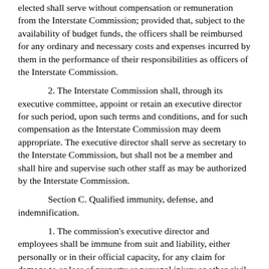elected shall serve without compensation or remuneration from the Interstate Commission; provided that, subject to the availability of budget funds, the officers shall be reimbursed for any ordinary and necessary costs and expenses incurred by them in the performance of their responsibilities as officers of the Interstate Commission.
2. The Interstate Commission shall, through its executive committee, appoint or retain an executive director for such period, upon such terms and conditions, and for such compensation as the Interstate Commission may deem appropriate. The executive director shall serve as secretary to the Interstate Commission, but shall not be a member and shall hire and supervise such other staff as may be authorized by the Interstate Commission.
Section C. Qualified immunity, defense, and indemnification.
1. The commission's executive director and employees shall be immune from suit and liability, either personally or in their official capacity, for any claim for damage to or loss of property or personal injury or other civil liability caused or arising out of or relating to any actual or alleged act, error, or